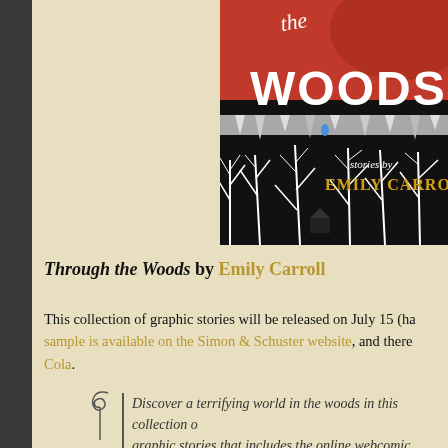[Figure (illustration): Book cover of 'Through the Woods' by Emily Carroll — dramatic red and black illustration of a dark forest with white bare trees, red sky, and text 'stories by EMILY CARROLL']
Through the Woods by Emily Carroll
This collection of graphic stories will be released on July 15 (ha sample is available on the Simon & Schuster website, and there Cola.
Discover a terrifying world in the woods in this collection of graphic stories that includes the online webcomic sensation